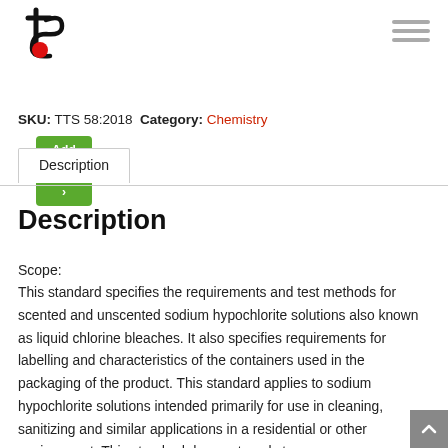[Figure (logo): TS logo with stylized letter t and s with a red circle]
[Figure (other): Hamburger menu icon with three horizontal lines]
Add to cart
SKU: TTS 58:2018 Category: Chemistry
Description
Description
Scope:
This standard specifies the requirements and test methods for scented and unscented sodium hypochlorite solutions also known as liquid chlorine bleaches. It also specifies requirements for labelling and characteristics of the containers used in the packaging of the product. This standard applies to sodium hypochlorite solutions intended primarily for use in cleaning, sanitizing and similar applications in a residential or other environment. This standard does not apply to: